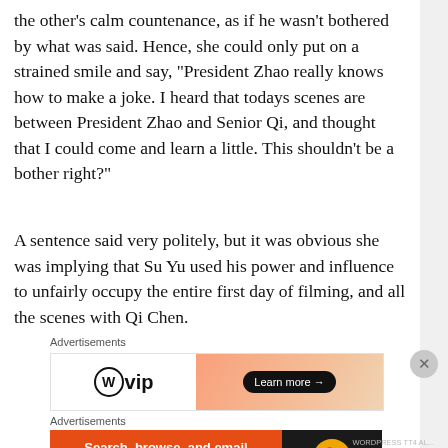the other’s calm countenance, as if he wasn’t bothered by what was said. Hence, she could only put on a strained smile and say, “President Zhao really knows how to make a joke. I heard that todays scenes are between President Zhao and Senior Qi, and thought that I could come and learn a little. This shouldn’t be a bother right?”
A sentence said very politely, but it was obvious she was implying that Su Yu used his power and influence to unfairly occupy the entire first day of filming, and all the scenes with Qi Chen.
Advertisements
[Figure (other): WordPress VIP advertisement banner with orange gradient and Learn more button]
Advertisements
[Figure (other): DuckDuckGo advertisement: Search, browse, and email with more privacy. All in One Free App]